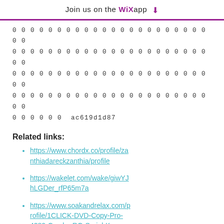Join us on the WiX app ⬇
0 0 0 0 0 0 0 0 0 0 0 0 0 0 0 0 0 0 0 0 0 0 0 0
0 0 0 0 0 0 0 0 0 0 0 0 0 0 0 0 0 0 0 0 0 0 0 0
0 0 0 0 0 0 0 0 0 0 0 0 0 0 0 0 0 0 0 0 0 0 0 0
0 0 0 0 0 0 0 0 0 0 0 0 0 0 0 0 0 0 0 0 0 0 0 0
0 0 0 0 0 0  ac619d1d87
Related links:
https://www.chordx.co/profile/zanthiadareckzanthia/profile
https://wakelet.com/wake/giwYJhLGDer_rfP65m7a
https://www.soakandrelax.com/profile/1CLICK-DVD-Copy-Pro-4280-Crack-eRG-Serial-Key-timmyord/profile